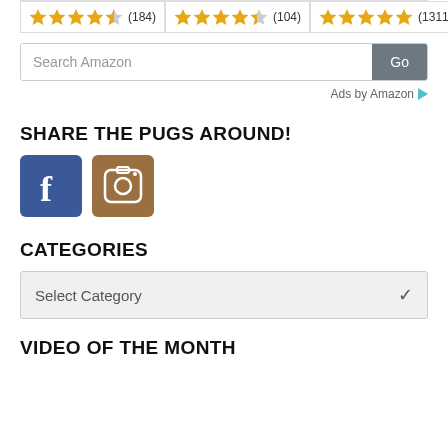[Figure (other): Three product rating boxes with star ratings: 4.5 stars (184 reviews), 4.5 stars (104 reviews), 5 stars (1311 reviews)]
[Figure (screenshot): Amazon search bar with text 'Search Amazon' and Go button]
Ads by Amazon
SHARE THE PUGS AROUND!
[Figure (infographic): Facebook and Instagram social media icon buttons]
CATEGORIES
[Figure (screenshot): Select Category dropdown menu]
VIDEO OF THE MONTH